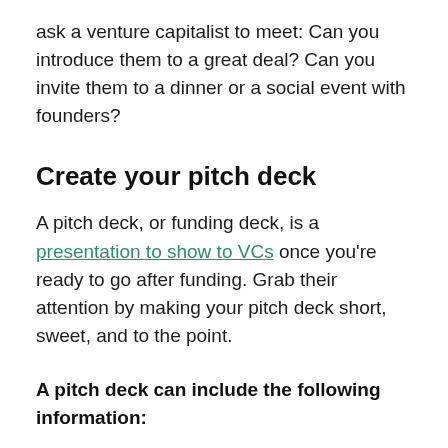ask a venture capitalist to meet: Can you introduce them to a great deal? Can you invite them to a dinner or a social event with founders?
Create your pitch deck
A pitch deck, or funding deck, is a presentation to show to VCs once you're ready to go after funding. Grab their attention by making your pitch deck short, sweet, and to the point.
A pitch deck can include the following information: